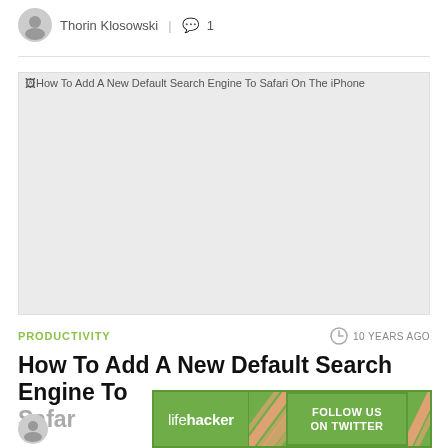Thorin Klosowski | 💬 1
[Figure (photo): Broken image placeholder for 'How To Add A New Default Search Engine To Safari On The iPhone' — large light gray rectangle with alt text visible at top left]
PRODUCTIVITY   10 YEARS AGO
How To Add A New Default Search Engine To Safari...
[Figure (infographic): Lifehacker advertisement banner: green background with 'lifehacker' logo on left, diagonal orange/pink pattern in center, 'FOLLOW US ON TWITTER' button on right]